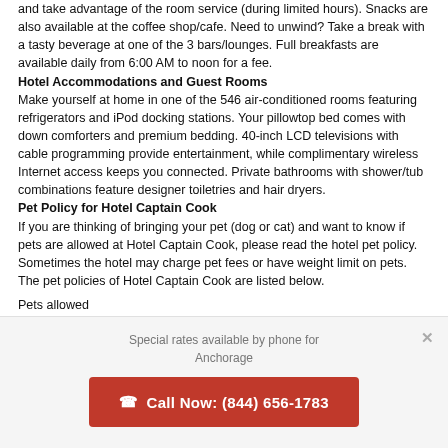and take advantage of the room service (during limited hours). Snacks are also available at the coffee shop/cafe. Need to unwind? Take a break with a tasty beverage at one of the 3 bars/lounges. Full breakfasts are available daily from 6:00 AM to noon for a fee.
Hotel Accommodations and Guest Rooms
Make yourself at home in one of the 546 air-conditioned rooms featuring refrigerators and iPod docking stations. Your pillowtop bed comes with down comforters and premium bedding. 40-inch LCD televisions with cable programming provide entertainment, while complimentary wireless Internet access keeps you connected. Private bathrooms with shower/tub combinations feature designer toiletries and hair dryers.
Pet Policy for Hotel Captain Cook
If you are thinking of bringing your pet (dog or cat) and want to know if pets are allowed at Hotel Captain Cook, please read the hotel pet policy. Sometimes the hotel may charge pet fees or have weight limit on pets. The pet policies of Hotel Captain Cook are listed below.
Pets allowed
Service animals are exempt from fees/restrictions
Service animals are allowed
Additional Hotel Details
Special rates available by phone for Anchorage
Call Now: (844) 656-1783